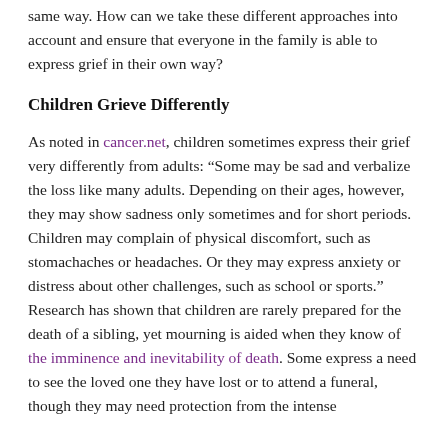same way. How can we take these different approaches into account and ensure that everyone in the family is able to express grief in their own way?
Children Grieve Differently
As noted in cancer.net, children sometimes express their grief very differently from adults: “Some may be sad and verbalize the loss like many adults. Depending on their ages, however, they may show sadness only sometimes and for short periods. Children may complain of physical discomfort, such as stomachaches or headaches. Or they may express anxiety or distress about other challenges, such as school or sports.” Research has shown that children are rarely prepared for the death of a sibling, yet mourning is aided when they know of the imminence and inevitability of death. Some express a need to see the loved one they have lost or to attend a funeral, though they may need protection from the intense